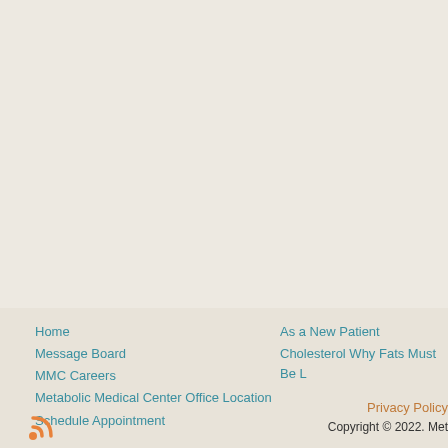Home
Message Board
MMC Careers
Metabolic Medical Center Office Location
Schedule Appointment
As a New Patient
Cholesterol Why Fats Must Be L
Privacy Policy
Copyright © 2022. Met